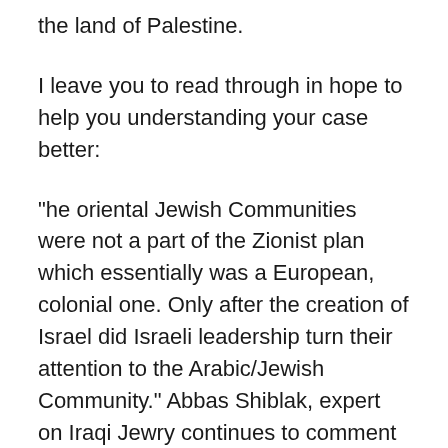the land of Palestine.
I leave you to read through in hope to help you understanding your case better:
"he oriental Jewish Communities were not a part of the Zionist plan which essentially was a European, colonial one. Only after the creation of Israel did Israeli leadership turn their attention to the Arabic/Jewish Community." Abbas Shiblak, expert on Iraqi Jewry continues to comment on what happened then: "For me, as a refugee and a Palestinian Arab, the experiences of Iraqi Jews and